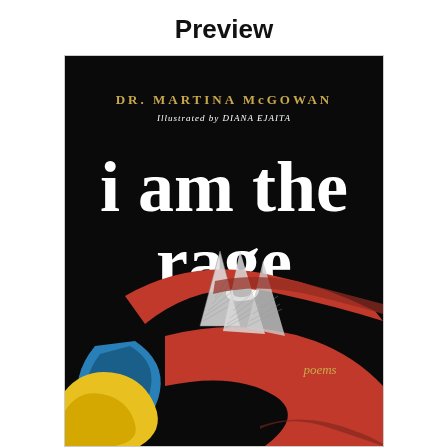Preview
[Figure (illustration): Book cover of 'i am the rage' by Dr. Martina McGowan, illustrated by Diana Ejaita. Black background with large white serif lowercase title text 'i am the rage'. Author name in gold uppercase letters at top: 'DR. MARTINA McGOWAN'. Below author name in white italic: 'Illustrated by DIANA EJAITA'. Lower right in gold italic: 'poems'. Abstract illustration featuring bold red sweeping curved forms, blue teardrop/leaf shape, yellow curved shape, and triangular white/grey patterned shapes against black background.]